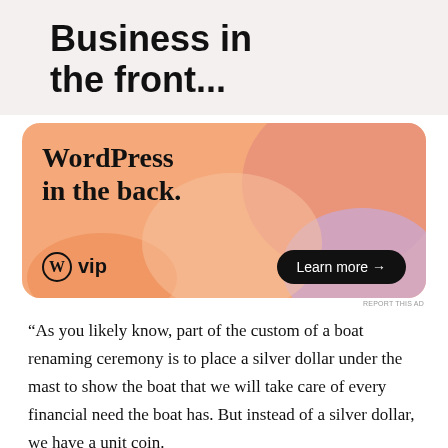Business in the front...
[Figure (illustration): WordPress VIP advertisement banner with colorful gradient background (orange, pink, lavender blobs). Large text reads 'WordPress in the back.' with WordPress VIP logo on the left and a 'Learn more →' button on the right.]
REPORT THIS AD
“As you likely know, part of the custom of a boat renaming ceremony is to place a silver dollar under the mast to show the boat that we will take care of every financial need the boat has. But instead of a silver dollar, we have a unit coin.
We will not place it under the mast, but instead it will be